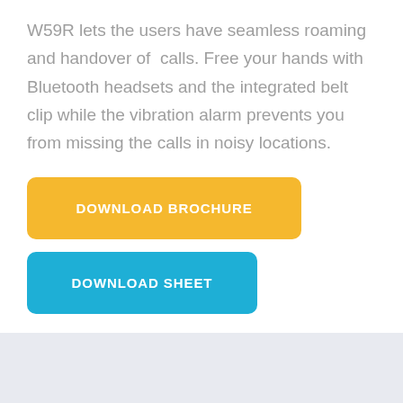W59R lets the users have seamless roaming and handover of  calls. Free your hands with Bluetooth headsets and the integrated belt clip while the vibration alarm prevents you from missing the calls in noisy locations.
[Figure (other): Yellow rounded rectangle button with white bold uppercase text 'DOWNLOAD BROCHURE']
[Figure (other): Blue rounded rectangle button with white bold uppercase text 'DOWNLOAD SHEET']